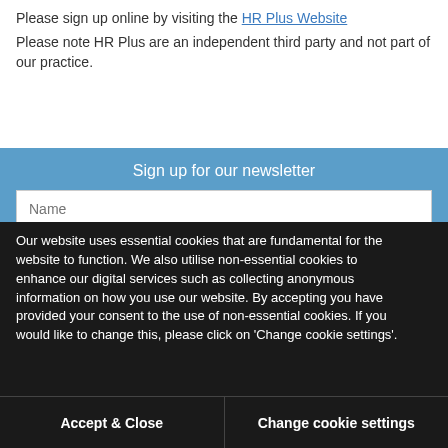Please sign up online by visiting the HR Plus Website
Please note HR Plus are an independent third party and not part of our practice.
Sign up for our newsletter
Name
Our website uses essential cookies that are fundamental for the website to function. We also utilise non-essential cookies to enhance our digital services such as collecting anonymous information on how you use our website. By accepting you have provided your consent to the use of non-essential cookies. If you would like to change this, please click on 'Change cookie settings'.
Accept & Close
Change cookie settings